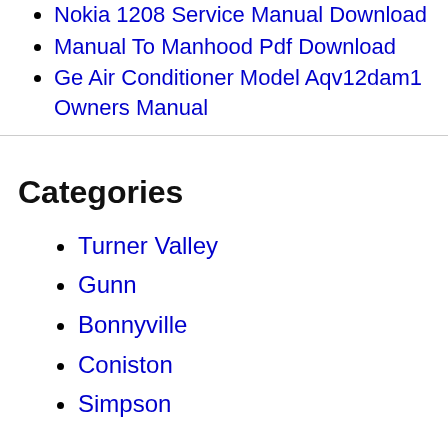Nokia 1208 Service Manual Download
Manual To Manhood Pdf Download
Ge Air Conditioner Model Aqv12dam1 Owners Manual
Categories
Turner Valley
Gunn
Bonnyville
Coniston
Simpson